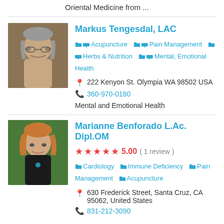Oriental Medicine from ...
Markus Tengesdal, LAC
Acupuncture  Pain Management  Herbs & Nutrition  Mental, Emotional Health
222 Kenyon St. Olympia WA 98502 USA
360-970-0180
Mental and Emotional Health
Marianne Benforado L.Ac. Dipl.OM
5.00 ( 1 review )
Cardiology  Immune Deficiency  Pain Management  Acupuncture
630 Frederick Street, Santa Cruz, CA 95062, United States
831-212-3090